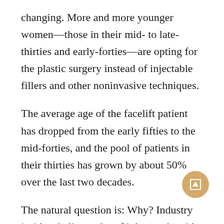changing. More and more younger women—those in their mid- to late-thirties and early-forties—are opting for the plastic surgery instead of injectable fillers and other noninvasive techniques.
The average age of the facelift patient has dropped from the early fifties to the mid-forties, and the pool of patients in their thirties has grown by about 50% over the last two decades.
The natural question is: Why? Industry insiders believe a lot of it has to do with the growing